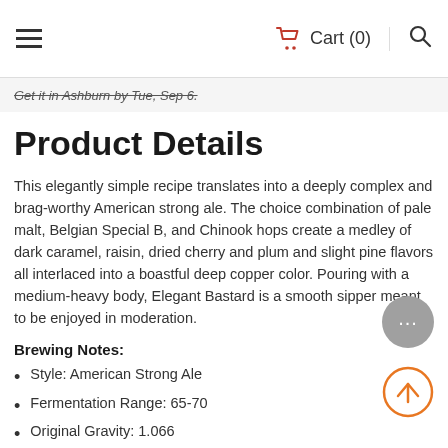≡   Cart (0)   🔍
Get it in Ashburn by Tue, Sep 6.
Product Details
This elegantly simple recipe translates into a deeply complex and brag-worthy American strong ale. The choice combination of pale malt, Belgian Special B, and Chinook hops create a medley of dark caramel, raisin, dried cherry and plum and slight pine flavors all interlaced into a boastful deep copper color. Pouring with a medium-heavy body, Elegant Bastard is a smooth sipper meant to be enjoyed in moderation.
Brewing Notes:
Style: American Strong Ale
Fermentation Range: 65-70
Original Gravity: 1.066
SRM: 16
IBU: 91